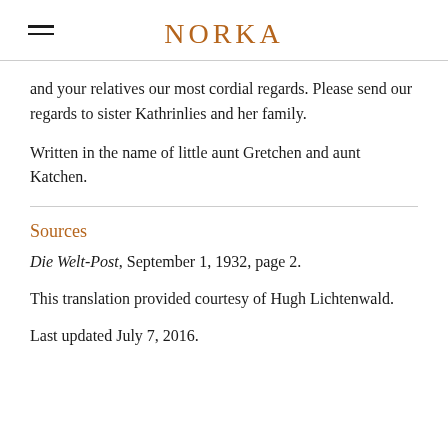NORKA
and your relatives our most cordial regards. Please send our regards to sister Kathrinlies and her family.
Written in the name of little aunt Gretchen and aunt Katchen.
Sources
Die Welt-Post, September 1, 1932, page 2.
This translation provided courtesy of Hugh Lichtenwald.
Last updated July 7, 2016.